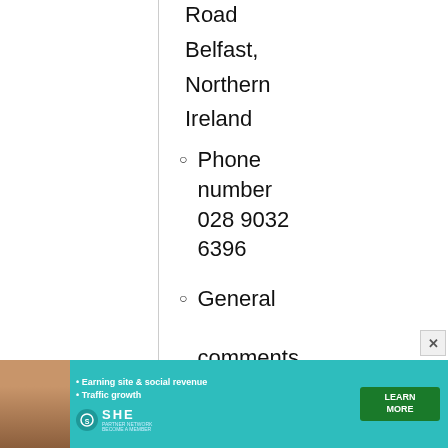Road
Belfast,
Northern
Ireland
Phone number 028 9032 6396
General comments
[Figure (infographic): Advertisement banner for SHE Partner Network with teal background, woman photo, text 'Earning site & social revenue', 'Traffic growth', SHE logo, and 'LEARN MORE' button]